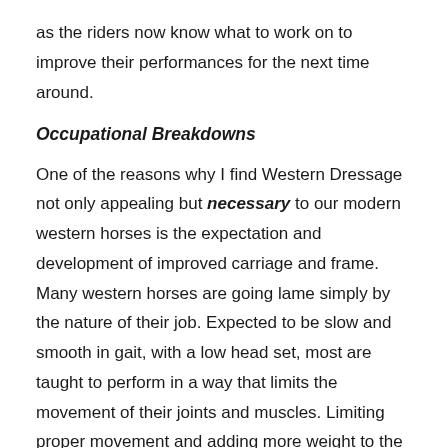as the riders now know what to work on to improve their performances for the next time around.
Occupational Breakdowns
One of the reasons why I find Western Dressage not only appealing but necessary to our modern western horses is the expectation and development of improved carriage and frame. Many western horses are going lame simply by the nature of their job. Expected to be slow and smooth in gait, with a low head set, most are taught to perform in a way that limits the movement of their joints and muscles. Limiting proper movement and adding more weight to the forehand by causing unnatural and unnecessary low head carriage is puts a horse at a tremendously higher risk for front end lameness. I'm not suggesting that we want a Western